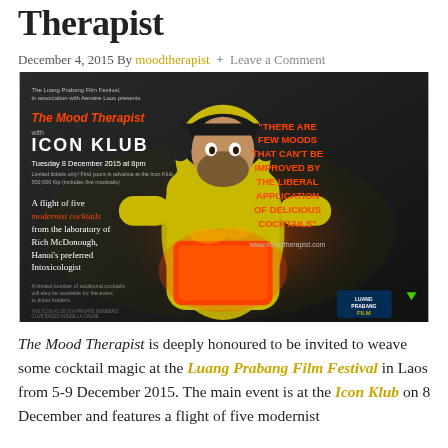Therapist
December 4, 2015 By moodtherapist + Leave a Comment
[Figure (photo): Promotional poster for The Mood Therapist at Icon Klub event at Luang Prabang Film Festival. Man in yellow hazmat suit holding a glowing red cocktail. Text includes quote 'THERE ARE FEW MOODS THAT CAN'T BE IMPROVED BY THE LIBERAL APPLICATION OF DELICIOUS COCKTAILS' and event details Tuesday 8 December 2015 at 8pm.]
The Mood Therapist is deeply honoured to be invited to weave some cocktail magic at the Luang Prabang Film Festival in Laos from 5-9 December 2015. The main event is at the Icon Klub on 8 December and features a flight of five modernist cocktails that...